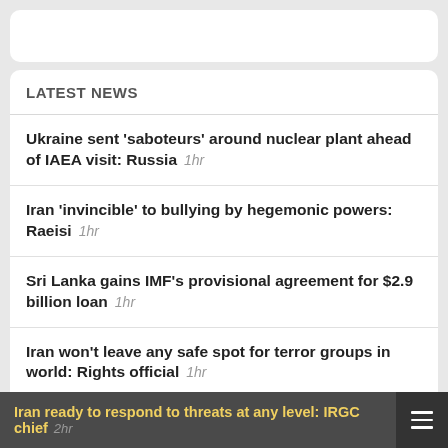LATEST NEWS
Ukraine sent 'saboteurs' around nuclear plant ahead of IAEA visit: Russia  1hr
Iran 'invincible' to bullying by hegemonic powers: Raeisi  1hr
Sri Lanka gains IMF's provisional agreement for $2.9 billion loan  1hr
Iran won't leave any safe spot for terror groups in world: Rights official  1hr
Germany to send warships to Indo-Pacific as tensions with China rise  1hr
Iran ready to respond to threats at any level: IRGC chief  2hr